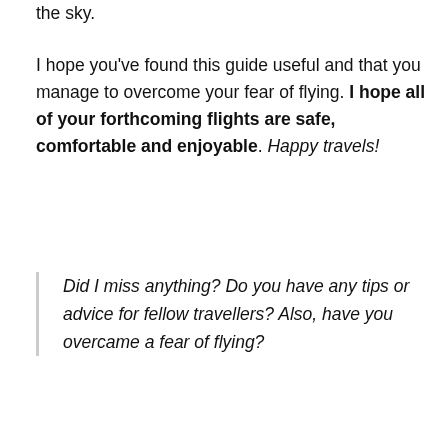the sky.
I hope you've found this guide useful and that you manage to overcome your fear of flying. I hope all of your forthcoming flights are safe, comfortable and enjoyable. Happy travels!
Did I miss anything? Do you have any tips or advice for fellow travellers? Also, have you overcame a fear of flying?